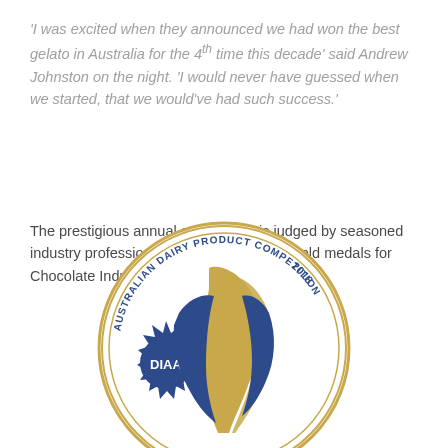'I was excited when they announced we had won the best gelato in Australia for the 4th time this decade' said Andrew Johnston on the night. 'I would never have guessed when we started, that we would've had such success.'
The prestigious annual competition is judged by seasoned industry professional. Fritz also received gold medals for Chocolate Indulgence and Coffee Rush.
[Figure (logo): DIAA Australian Dairy Product Competition 2018 circular logo with blue and gold colors, featuring a stylized bird/cow silhouette and a starburst badge with 'DIAA' text]